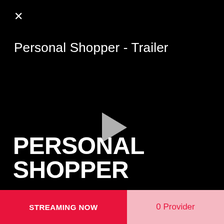×
Personal Shopper - Trailer
[Figure (other): Black video player area with a gray play button triangle in the center]
PERSONAL SHOPPER
STREAMING NOW
0 Provider